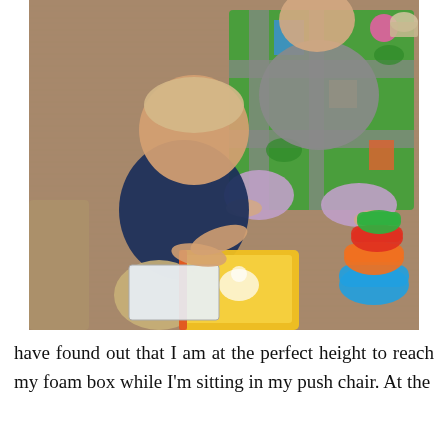[Figure (photo): Photo of two young children playing on a hardwood floor. A baby in a navy blue shirt and khaki pants sits in the foreground playing with a yellow board book. An older child in a gray graphic shirt and pink/lavender pants sits on a colorful road-map play rug in the background. Colorful stacking toys are visible on the right side.]
have found out that I am at the perfect height to reach my foam box while I'm sitting in my push chair. At the